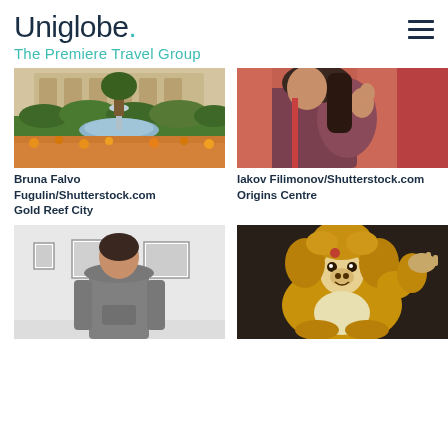Uniglobe. The Premiere Travel Group
[Figure (photo): Garden with fountain, flowers and trees - Gold Reef City]
[Figure (photo): Woman touching hair indoors - Origins Centre]
Bruna Falvo Fugulin/Shutterstock.com
Gold Reef City
Iakov Filimonov/Shutterstock.com
Origins Centre
[Figure (photo): Young man from behind looking at gallery wall with framed photos]
[Figure (photo): Monkey sitting and raising paw, golden fur]